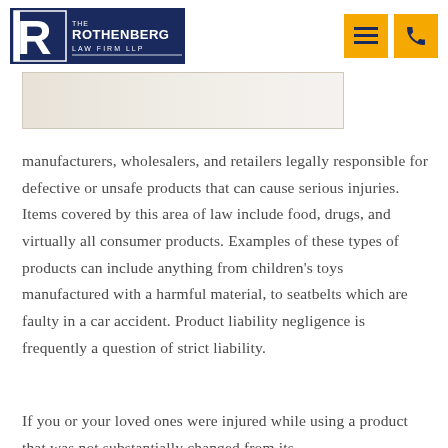The Rothenberg Law Firm LLP
[Figure (photo): Partial view of a photograph, light-colored background with soft tones]
manufacturers, wholesalers, and retailers legally responsible for defective or unsafe products that can cause serious injuries. Items covered by this area of law include food, drugs, and virtually all consumer products. Examples of these types of products can include anything from children’s toys manufactured with a harmful material, to seatbelts which are faulty in a car accident. Product liability negligence is frequently a question of strict liability.
If you or your loved ones were injured while using a product that was not substantially changed from its